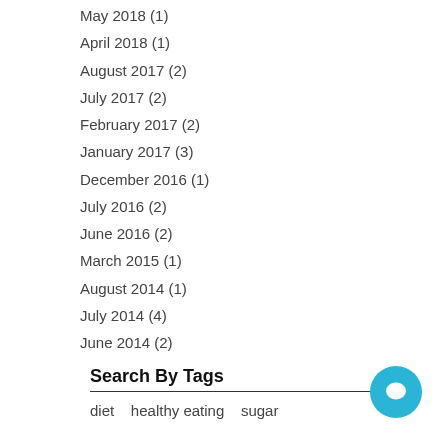May 2018 (1)
April 2018 (1)
August 2017 (2)
July 2017 (2)
February 2017 (2)
January 2017 (3)
December 2016 (1)
July 2016 (2)
June 2016 (2)
March 2015 (1)
August 2014 (1)
July 2014 (4)
June 2014 (2)
Search By Tags
diet   healthy eating   sugar